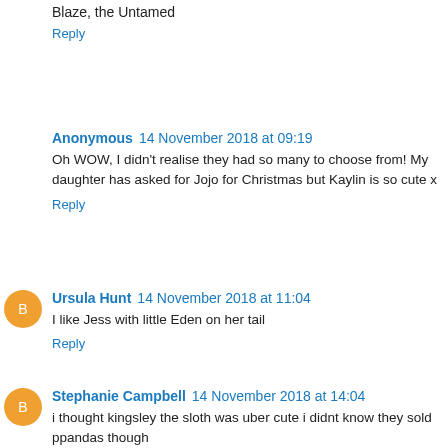Blaze, the Untamed
Reply
Anonymous  14 November 2018 at 09:19
Oh WOW, I didn't realise they had so many to choose from! My daughter has asked for Jojo for Christmas but Kaylin is so cute x
Reply
Ursula Hunt  14 November 2018 at 11:04
I like Jess with little Eden on her tail
Reply
Stephanie Campbell  14 November 2018 at 14:04
i thought kingsley the sloth was uber cute i didnt know they sold ppandas though